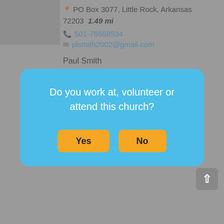[Figure (photo): Blurred/grey profile image placeholder in top-left corner]
PO Box 3077, Little Rock, Arkansas 72203  1.49 mi
501-76668534
plsmith2002@gmail.com
Paul Smith
Do you work at, volunteer or attend this church?
Yes
No
FIRST C[HURCH]... [GRACE] POINT [PLACE in the city of Maumelle. Maumelle] is located in the beautiful state of Arkansas. According to our database, there are approximately 17 churches in Maumelle, with 0 Catholic churches, 4 Baptist churches, 1 Pentecostal churches, 5 Methodist churches, and 7 other denomination churches. If you are looking for a new church or just visiting Maumelle,